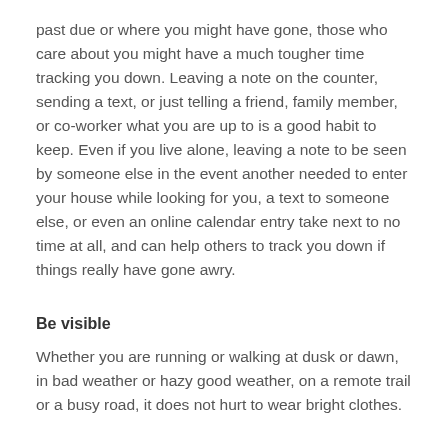past due or where you might have gone, those who care about you might have a much tougher time tracking you down.  Leaving a note on the counter, sending a text, or just telling a friend, family member, or co-worker what you are up to is a good habit to keep.  Even if you live alone, leaving a note to be seen by someone else in the event another needed to enter your house while looking for you, a text to someone else, or even an online calendar entry take next to no time at all, and can help others to track you down if things really have gone awry.
Be visible
Whether you are running or walking at dusk or dawn, in bad weather or hazy good weather, on a remote trail or a busy road, it does not hurt to wear bright clothes.